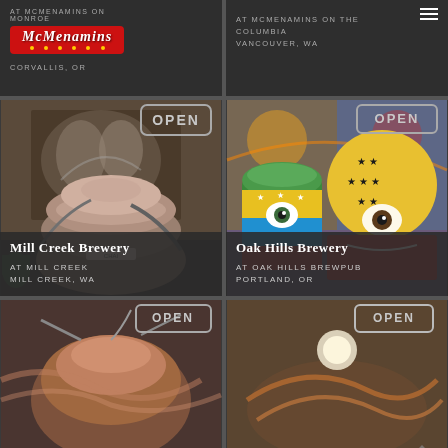[Figure (screenshot): McMenamins logo on dark background with location text AT MCMENAMINS ON MONROE, CORVALLIS, OR]
[Figure (screenshot): Dark panel with text AT MCMENAMINS ON THE COLUMBIA, VANCOUVER, WA and hamburger menu icon]
[Figure (photo): Interior brewery photo showing copper/bronze brewing tank with OPEN sign and mural artwork, for Mill Creek Brewery at Mill Creek, WA]
[Figure (photo): Interior brewery photo showing colorful painted brewing tanks decorated with eyes and star patterns with OPEN sign, for Oak Hills Brewery at Oak Hills Brewpub, Portland, OR]
[Figure (photo): Partial bottom-left brewery interior photo with copper tanks and OPEN sign]
[Figure (photo): Partial bottom-right brewery interior photo with OPEN sign and decorative artwork]